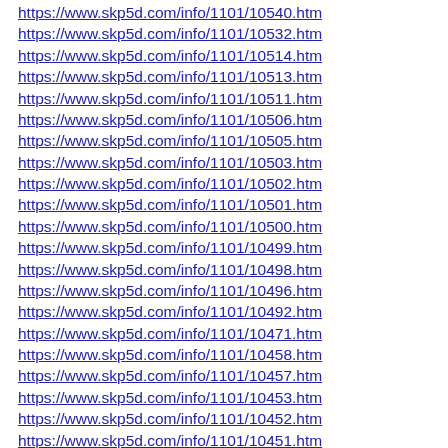https://www.skp5d.com/info/1101/10540.htm
https://www.skp5d.com/info/1101/10532.htm
https://www.skp5d.com/info/1101/10514.htm
https://www.skp5d.com/info/1101/10513.htm
https://www.skp5d.com/info/1101/10511.htm
https://www.skp5d.com/info/1101/10506.htm
https://www.skp5d.com/info/1101/10505.htm
https://www.skp5d.com/info/1101/10503.htm
https://www.skp5d.com/info/1101/10502.htm
https://www.skp5d.com/info/1101/10501.htm
https://www.skp5d.com/info/1101/10500.htm
https://www.skp5d.com/info/1101/10499.htm
https://www.skp5d.com/info/1101/10498.htm
https://www.skp5d.com/info/1101/10496.htm
https://www.skp5d.com/info/1101/10492.htm
https://www.skp5d.com/info/1101/10471.htm
https://www.skp5d.com/info/1101/10458.htm
https://www.skp5d.com/info/1101/10457.htm
https://www.skp5d.com/info/1101/10453.htm
https://www.skp5d.com/info/1101/10452.htm
https://www.skp5d.com/info/1101/10451.htm
https://www.skp5d.com/info/1101/10450.htm
https://www.skp5d.com/info/1101/10441.htm
https://www.skp5d.com/info/1101/10436.htm
https://www.skp5d.com/info/1101/10435.htm